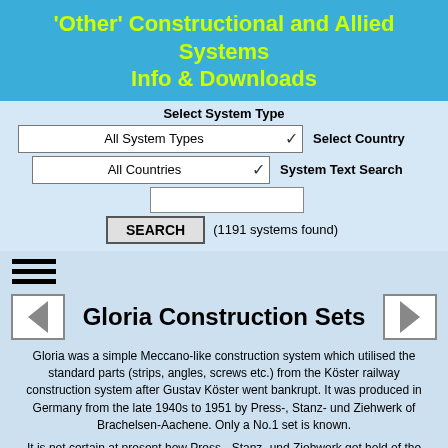'Other' Constructional and Allied Systems Info & Downloads
Select System Type
All System Types [dropdown]   Select Country
All Countries [dropdown]   System Text Search
[text input field]
SEARCH   (1191 systems found)
[Figure (other): Hamburger menu icon (three horizontal lines)]
Gloria Construction Sets
Gloria was a simple Meccano-like construction system which utilised the standard parts (strips, angles, screws etc.) from the Köster railway construction system after Gustav Köster went bankrupt. It was produced in Germany from the late 1940s to 1951 by Press-, Stanz- und Ziehwerk of Brachelsen-Aachene. Only a No.1 set is known.
It is not certain at present how Press-, Stanz- und Ziehwerk got hold of the parts for the Gloria sets as the parts for the Köster Railway System were made by yet another company (INA-Vertriebsgesellschaft Möws & Co GmbH Rheinmechanik). It could be that:-
1. During its bankruptcy, the Köster factory was taken over by another company (Press-, Stanz- und Ziehwerk) which sold the